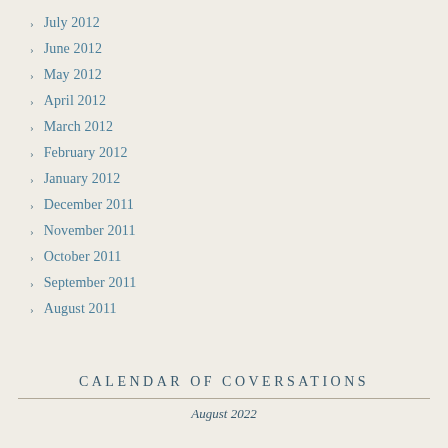July 2012
June 2012
May 2012
April 2012
March 2012
February 2012
January 2012
December 2011
November 2011
October 2011
September 2011
August 2011
CALENDAR OF COVERSATIONS
August 2022